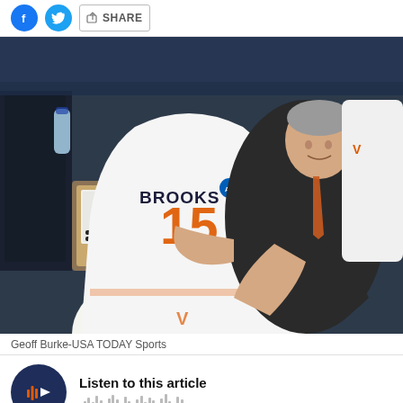Share
[Figure (photo): A Virginia Cavaliers basketball player wearing jersey number 15 (BROOKS) hugging a coach in a dark suit, from an aerial view. A Virginia V logo jersey is visible in the background along with chairs and equipment on the sideline.]
Geoff Burke-USA TODAY Sports
Listen to this article